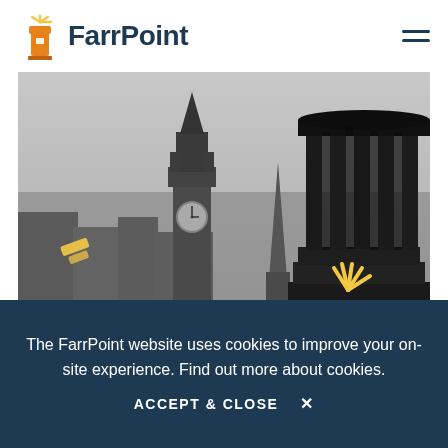[Figure (logo): FarrPoint logo with orange lighthouse icon and dark blue bold text]
[Figure (photo): Edinburgh cityscape with Balmoral clock tower and Nelson Monument columns, misty grey day, yellow FarrPoint decorative accents overlaid]
The FarrPoint website uses cookies to improve your on-site experience. Find out more about cookies.
ACCEPT & CLOSE ✕